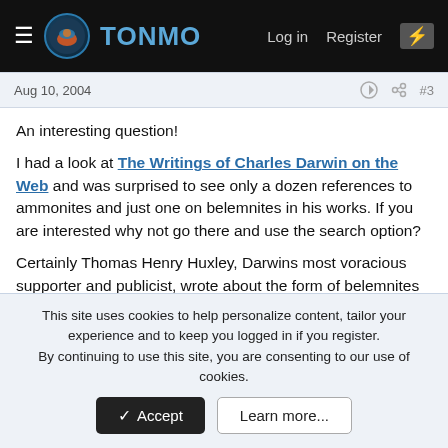TONMO — Log in  Register
Aug 10, 2004  #3
An interesting question!
I had a look at The Writings of Charles Darwin on the Web and was surprised to see only a dozen references to ammonites and just one on belemnites in his works. If you are interested why not go there and use the search option?
Certainly Thomas Henry Huxley, Darwins most voracious supporter and publicist, wrote about the form of belemnites and comparisons in morphology to Spirula and Nautilus in his On the Method of Zadig (1880). The relevent section is just over
This site uses cookies to help personalize content, tailor your experience and to keep you logged in if you register.
By continuing to use this site, you are consenting to our use of cookies.